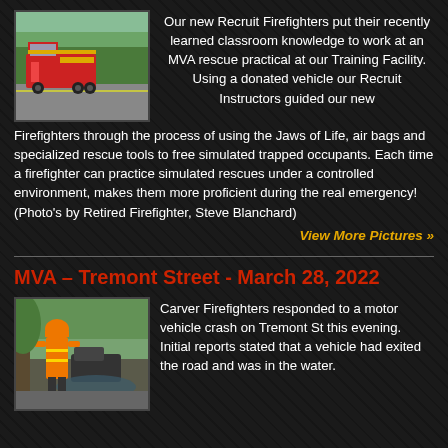[Figure (photo): Fire truck parked on a road with trees in the background]
Our new Recruit Firefighters put their recently learned classroom knowledge to work at an MVA rescue practical at our Training Facility.  Using a donated vehicle our Recruit Instructors guided our new Firefighters through the process of using the Jaws of Life, air bags and specialized rescue tools to free simulated trapped occupants.   Each time a firefighter can practice simulated rescues under a controlled environment, makes them more proficient during the real emergency!  (Photo's by Retired Firefighter, Steve Blanchard)
View More Pictures »
MVA – Tremont Street - March 28, 2022
[Figure (photo): Firefighter in orange high-visibility vest at a vehicle accident scene with trees]
Carver Firefighters responded to a motor vehicle crash on Tremont St this evening. Initial reports stated that a vehicle had exited the road and was in the water.